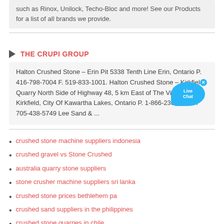such as Rinox, Unilock, Techo-Bloc and more! See our Products for a list of all brands we provide.
THE CRUPI GROUP
Halton Crushed Stone – Erin Pit 5338 Tenth Line Erin, Ontario P. 416-798-7004 F. 519-833-1001. Halton Crushed Stone – Kirkfield Quarry North Side of Highway 48, 5 km East of The Village Of Kirkfield, City Of Kawartha Lakes, Ontario P. 1-866-236-6609 F. 705-438-5749 Lee Sand & ...
crushed stone machine suppliers indonesia
crushed gravel vs Stone Crushed
australia quarry stone suppliers
stone crusher machine suppliers sri lanka
crushed stone prices bethlehem pa
crushed sand suppliers in the philippines
crushed stone quarries in chile
Jaw Crusher Stone Crushing Machine Manufacturer Suppliers In Chennai Bangalore
sand and stone suppliers in johannesburg